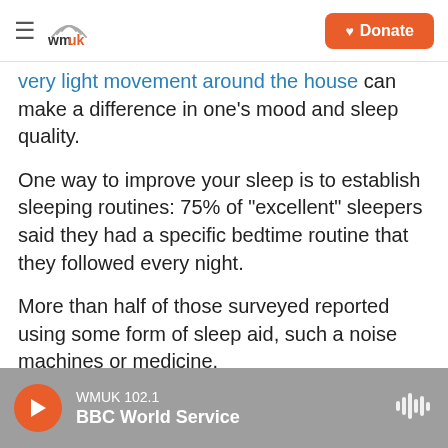WMUK — Donate
very light movement around the house can make a difference in one's mood and sleep quality.
One way to improve your sleep is to establish sleeping routines: 75% of "excellent" sleepers said they had a specific bedtime routine that they followed every night.
More than half of those surveyed reported using some form of sleep aid, such a noise machines or medicine.
The survey suggested that nutrition, exercise, our
WMUK 102.1 — BBC World Service